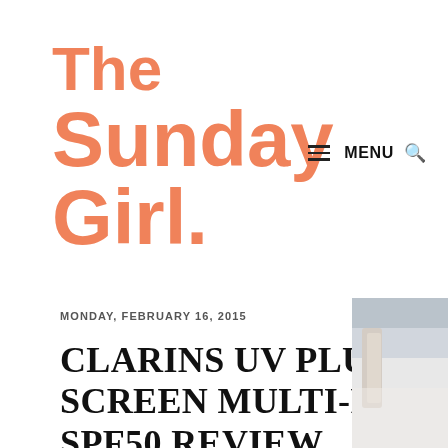The Sunday Girl.
MENU
MONDAY, FEBRUARY 16, 2015
CLARINS UV PLUS DAY SCREEN MULTI-PROTECTION SPF50 REVIEW
[Figure (photo): Partial photo of Clarins product, partially visible on right side of page]